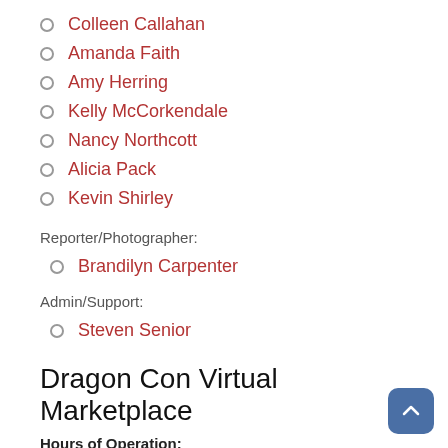Colleen Callahan
Amanda Faith
Amy Herring
Kelly McCorkendale
Nancy Northcott
Alicia Pack
Kevin Shirley
Reporter/Photographer:
Brandilyn Carpenter
Admin/Support:
Steven Senior
Dragon Con Virtual Marketplace
Hours of Operation:
September 2–7